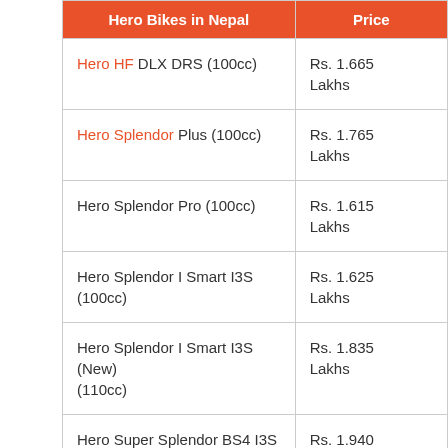| Hero Bikes in Nepal | Price |
| --- | --- |
| Hero HF DLX DRS (100cc) | Rs. 1.665 Lakhs |
| Hero Splendor Plus (100cc) | Rs. 1.765 Lakhs |
| Hero Splendor Pro (100cc) | Rs. 1.615 Lakhs |
| Hero Splendor I Smart I3S (100cc) | Rs. 1.625 Lakhs |
| Hero Splendor I Smart I3S (New) (110cc) | Rs. 1.835 Lakhs |
| Hero Super Splendor BS4 I3S (125cc) | Rs. 1.940 Lakhs |
| ... | Rs. 1.780... |